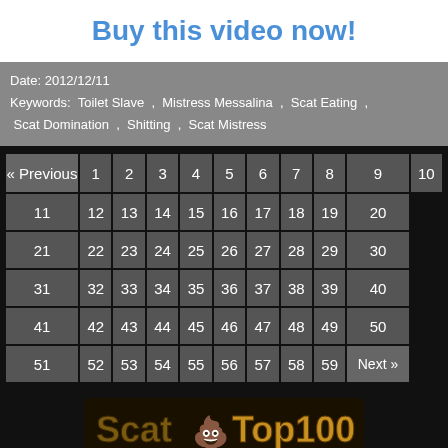Buy this video now!
Date: 2012/12/11
Keywords: Toilet Slave , Mistress Messalina , Scat Eating , Scat Domination , Shitting , Scat Mistress
| « Previous | 1 | 2 | 3 | 4 | 5 | 6 | 7 | 8 | 9 | 10 |
| --- | --- | --- | --- | --- | --- | --- | --- | --- | --- | --- |
| 11 | 12 | 13 | 14 | 15 | 16 | 17 | 18 | 19 | 20 |
| 21 | 22 | 23 | 24 | 25 | 26 | 27 | 28 | 29 | 30 |
| 31 | 32 | 33 | 34 | 35 | 36 | 37 | 38 | 39 | 40 |
| 41 | 42 | 43 | 44 | 45 | 46 | 47 | 48 | 49 | 50 |
| 51 | 52 | 53 | 54 | 55 | 56 | 57 | 58 | 59 | Next » |
[Figure (logo): ScatTop100 logo with brown text and emoji icon on dark background]